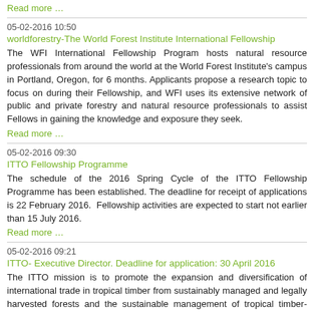Read more …
05-02-2016 10:50
worldforestry-The World Forest Institute International Fellowship
The WFI International Fellowship Program hosts natural resource professionals from around the world at the World Forest Institute's campus in Portland, Oregon, for 6 months. Applicants propose a research topic to focus on during their Fellowship, and WFI uses its extensive network of public and private forestry and natural resource professionals to assist Fellows in gaining the knowledge and exposure they seek.
Read more …
05-02-2016 09:30
ITTO Fellowship Programme
The schedule of the 2016 Spring Cycle of the ITTO Fellowship Programme has been established. The deadline for receipt of applications is 22 February 2016.  Fellowship activities are expected to start not earlier than 15 July 2016.
Read more …
05-02-2016 09:21
ITTO- Executive Director. Deadline for application: 30 April 2016
The ITTO mission is to promote the expansion and diversification of international trade in tropical timber from sustainably managed and legally harvested forests and the sustainable management of tropical timber-producing forests. The Executive Director is the chief administrative officer of the Organization and responsible to the International Tropical Timber Council for the administration and operation of the International Tropical Timber Agreement, 2006, in accordance with decisions of the Council. The ITTO explicitly encourages applications from qualified female candidates.
Read more …